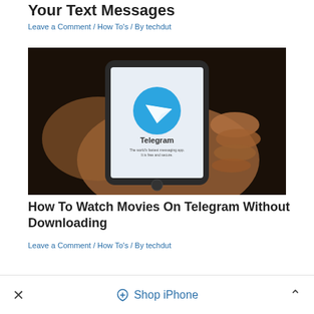Your Text Messages
Leave a Comment / How To's / By techdut
[Figure (photo): A hand holding a smartphone displaying the Telegram app logo and welcome screen against a dark background.]
How To Watch Movies On Telegram Without Downloading
Leave a Comment / How To's / By techdut
× Shop iPhone ^